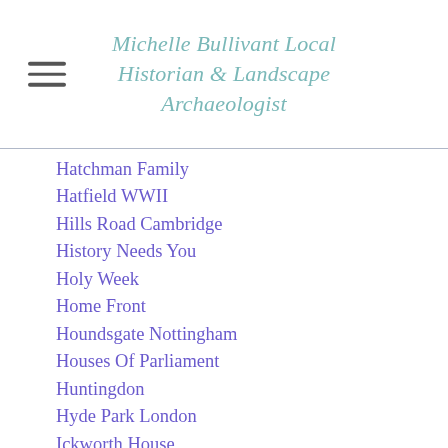Michelle Bullivant Local Historian & Landscape Archaeologist
Hatchman Family
Hatfield WWII
Hills Road Cambridge
History Needs You
Holy Week
Home Front
Houndsgate Nottingham
Houses Of Parliament
Huntingdon
Hyde Park London
Ickworth House
Inverness Terrace
Iraq WWII
Italy WWII
Jerry
Jesus Green Cambridge
Joan Punter/Toller